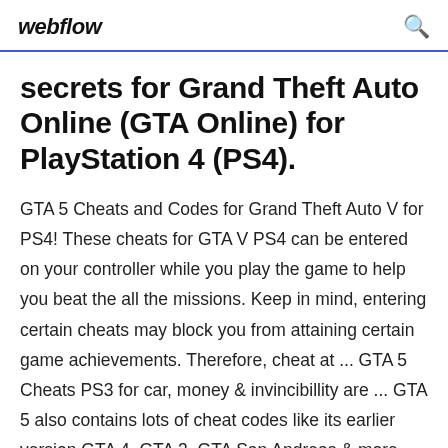webflow
secrets for Grand Theft Auto Online (GTA Online) for PlayStation 4 (PS4).
GTA 5 Cheats and Codes for Grand Theft Auto V for PS4! These cheats for GTA V PS4 can be entered on your controller while you play the game to help you beat the all the missions. Keep in mind, entering certain cheats may block you from attaining certain game achievements. Therefore, cheat at ... GTA 5 Cheats PS3 for car, money & invincibillity are ... GTA 5 also contains lots of cheat codes like its earlier version GTA 4, GTA 3, GTA San Andreas &amp; more. You can also use these codes during the